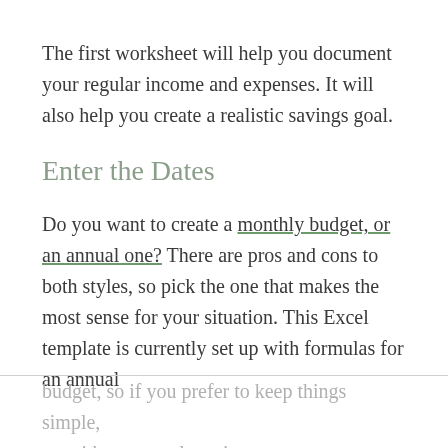The first worksheet will help you document your regular income and expenses. It will also help you create a realistic savings goal.
Enter the Dates
Do you want to create a monthly budget, or an annual one? There are pros and cons to both styles, so pick the one that makes the most sense for your situation. This Excel template is currently set up with formulas for an annual budget, so if you prefer to keep things simple, go with an annual version.